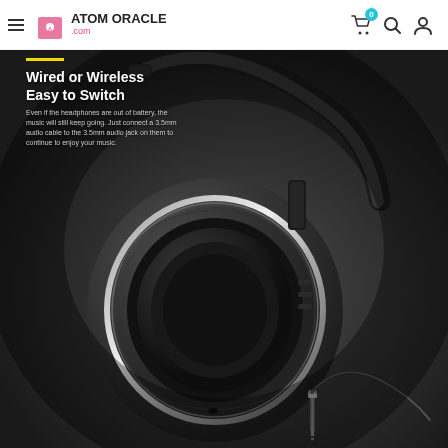Atom Oracle .com — navigation header with hamburger menu, logo, cart (0), search, and user icons
[Figure (photo): Close-up product photo of a black over-ear wireless headphone showing the ear cup, cushion, audio jack port, and a 3.5mm audio cable plug, on a dark background. Overlaid text reads: 'Wired or Wireless Easy to Switch' with a yellow accent bar, and descriptive text: 'Even if the headphones are out of battery, the music will still keep going. Just connect a 3.5mm audio cable to the 3.5mm audio jack on them to continue to enjoy your music.']